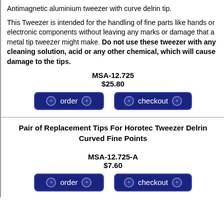Antimagnetic aluminium tweezer with curve delrin tip.
This Tweezer is intended for the handling of fine parts like hands or electronic components without leaving any marks or damage that a metal tip tweezer might make. Do not use these tweezer with any cleaning solution, acid or any other chemical, which will cause damage to the tips.
MSA-12.725
$25.80
[Figure (other): Order and checkout buttons for MSA-12.725]
Pair of Replacement Tips For Horotec Tweezer Delrin Curved Fine Points
MSA-12.725-A
$7.60
[Figure (other): Order and checkout buttons for MSA-12.725-A]